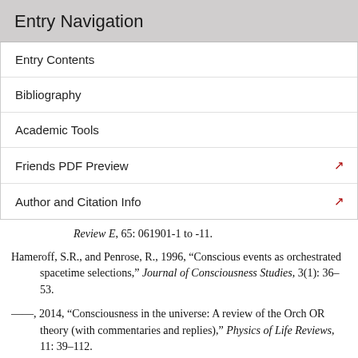Entry Navigation
Entry Contents
Bibliography
Academic Tools
Friends PDF Preview
Author and Citation Info
Review E, 65: 061901-1 to -11.
Hameroff, S.R., and Penrose, R., 1996, “Conscious events as orchestrated spacetime selections,” Journal of Consciousness Studies, 3(1): 36–53.
——, 2014, “Consciousness in the universe: A review of the Orch OR theory (with commentaries and replies),” Physics of Life Reviews, 11: 39–112.
Hartmann, L., Düer, W., and Briegel, H.-J., 2006, “Steady state entanglement in open and noisy quantum systems at high temperature,” Physical Review A, 74: